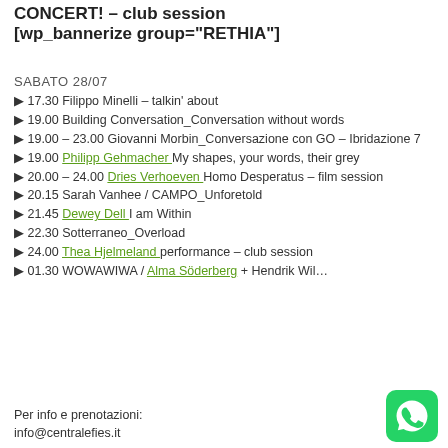CONCERT! – club session
[wp_bannerize group="RETHIA"]
SABATO 28/07
▶ 17.30 Filippo Minelli – talkin' about
▶ 19.00 Building Conversation_Conversation without words
▶ 19.00 – 23.00 Giovanni Morbin_Conversazione con GO – Ibridazione 7
▶ 19.00 Philipp Gehmacher  My shapes, your words, their grey
▶ 20.00 – 24.00 Dries Verhoeven  Homo Desperatus – film session
▶ 20.15 Sarah Vanhee / CAMPO_Unforetold
▶ 21.45 Dewey Dell  I am Within
▶ 22.30 Sotterraneo_Overload
▶ 24.00 Thea Hjelmeland  performance – club session
▶ 01.30 WOWAWIWA / Alma Söderberg + Hendrik Wil…
Per info e prenotazioni:
info@centralefies.it